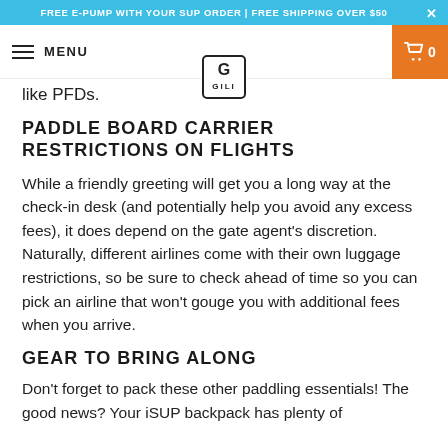FREE E-PUMP WITH YOUR SUP ORDER | FREE SHIPPING OVER $50
like PFDs.
PADDLE BOARD CARRIER RESTRICTIONS ON FLIGHTS
While a friendly greeting will get you a long way at the check-in desk (and potentially help you avoid any excess fees), it does depend on the gate agent's discretion. Naturally, different airlines come with their own luggage restrictions, so be sure to check ahead of time so you can pick an airline that won't gouge you with additional fees when you arrive.
GEAR TO BRING ALONG
Don't forget to pack these other paddling essentials! The good news? Your iSUP backpack has plenty of